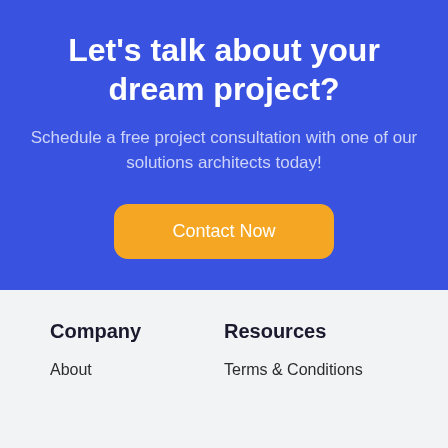Let’s talk about your dream project?
Schedule a free project consultation with one of our solutions architects today!
Contact Now
Company
Resources
About
Terms & Conditions